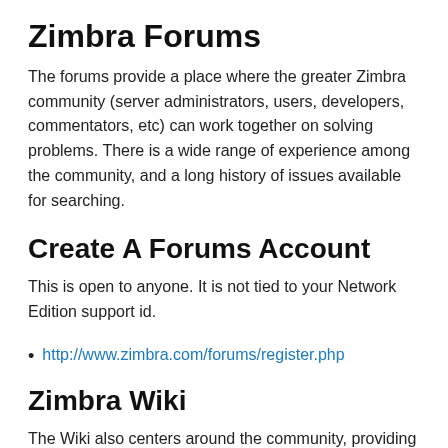Zimbra Forums
The forums provide a place where the greater Zimbra community (server administrators, users, developers, commentators, etc) can work together on solving problems. There is a wide range of experience among the community, and a long history of issues available for searching.
Create A Forums Account
This is open to anyone. It is not tied to your Network Edition support id.
http://www.zimbra.com/forums/register.php
Zimbra Wiki
The Wiki also centers around the community, providing a site where anyone with an account can contribute